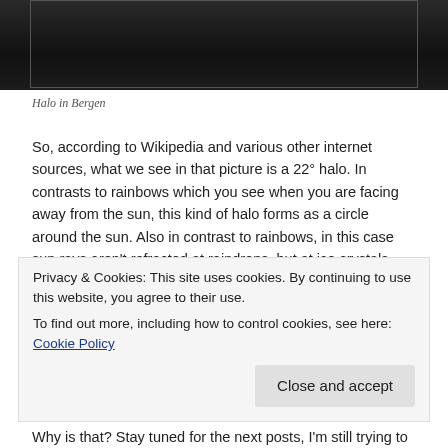[Figure (photo): Dark nighttime or low-light photograph, appears to be a halo or atmospheric phenomenon over Bergen, partially cropped at top of page]
Halo in Bergen
So, according to Wikipedia and various other internet sources, what we see in that picture is a 22° halo. In contrasts to rainbows which you see when you are facing away from the sun, this kind of halo forms as a circle around the sun. Also in contrast to rainbows, in this case sun rays aren't refracted at raindrops, but at ice crystals. Since ice crystals typically have a hexagonal shape, this causes the radius of the halo to be on average 22°. On average, since
Privacy & Cookies: This site uses cookies. By continuing to use this website, you agree to their use.
To find out more, including how to control cookies, see here: Cookie Policy
Why is that? Stay tuned for the next posts, I'm still trying to